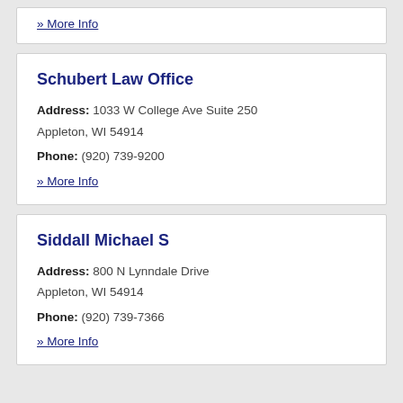» More Info
Schubert Law Office
Address: 1033 W College Ave Suite 250 Appleton, WI 54914
Phone: (920) 739-9200
» More Info
Siddall Michael S
Address: 800 N Lynndale Drive Appleton, WI 54914
Phone: (920) 739-7366
» More Info